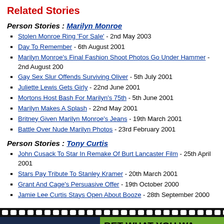Related Stories
Person Stories : Marilyn Monroe
Stolen Monroe Ring 'For Sale' - 2nd May 2003
Day To Remember - 6th August 2001
Marilyn Monroe's Final Fashion Shoot Photos Go Under Hammer - 2nd August 200
Gay Sex Slur Offends Surviving Oliver - 5th July 2001
Juliette Lewis Gets Girly - 22nd June 2001
Mortons Host Bash For Marilyn's 75th - 5th June 2001
Marilyn Makes A Splash - 22nd May 2001
Britney Given Marilyn Monroe's Jeans - 19th March 2001
Battle Over Nude Marilyn Photos - 23rd February 2001
Person Stories : Tony Curtis
John Cusack To Star In Remake Of Burt Lancaster Film - 25th April 2001
Stars Pay Tribute To Stanley Kramer - 20th March 2001
Grant And Cage's Persuasive Offer - 19th October 2000
Jamie Lee Curtis Stays Open About Booze - 28th September 2000
[Figure (other): Film strip divider bar]
[Figure (other): Advertisement banner: BET WHAT YOU WA(NT) - OUR ONLINE BETTING EXCHANGE IS O(PEN) - Register Today For Exclusive Launch Offers And B(enefits)]
Advertising  Terms & C(onditions)  © 1999